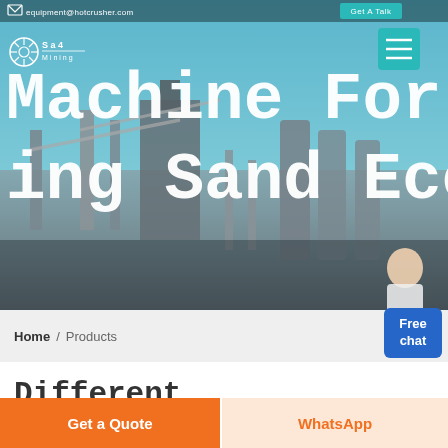equipment@hotcrusher.com   Get A Talk
[Figure (screenshot): Hero banner showing industrial mining/crushing machinery plant with conveyors and silos against a blue sky background. Large white text overlay reads: Machine For Mining Sand Ecosab]
Machine For Mining Sand Ecosab
Home / Products
Free chat
Different Machines To Meet All Need
[Figure (photo): Partial view of industrial machinery/equipment interior, dark blue tones]
Get a Quote
WhatsApp